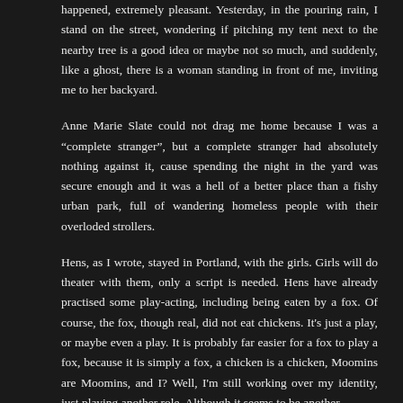happened, extremely pleasant. Yesterday, in the pouring rain, I stand on the street, wondering if pitching my tent next to the nearby tree is a good idea or maybe not so much, and suddenly, like a ghost, there is a woman standing in front of me, inviting me to her backyard.
Anne Marie Slate could not drag me home because I was a “complete stranger”, but a complete stranger had absolutely nothing against it, cause spending the night in the yard was secure enough and it was a hell of a better place than a fishy urban park, full of wandering homeless people with their overloded strollers.
Hens, as I wrote, stayed in Portland, with the girls. Girls will do theater with them, only a script is needed. Hens have already practised some play-acting, including being eaten by a fox. Of course, the fox, though real, did not eat chickens. It's just a play, or maybe even a play. It is probably far easier for a fox to play a fox, because it is simply a fox, a chicken is a chicken, Moomins are Moomins, and I? Well, I'm still working over my identity, just playing another role. Although it seems to be another